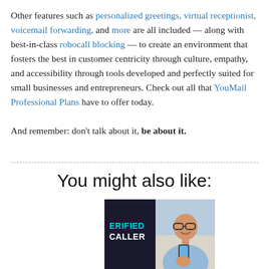Other features such as personalized greetings, virtual receptionist, voicemail forwarding, and more are all included — along with best-in-class robocall blocking — to create an environment that fosters the best in customer centricity through culture, empathy, and accessibility through tools developed and perfectly suited for small businesses and entrepreneurs. Check out all that YouMail Professional Plans have to offer today.

And remember: don't talk about it, be about it.
You might also like:
[Figure (photo): Photo showing a man with glasses smiling while looking at a phone, overlaid with a dark banner showing 'VERIFIED CALLER' text in teal/cyan on the left side]